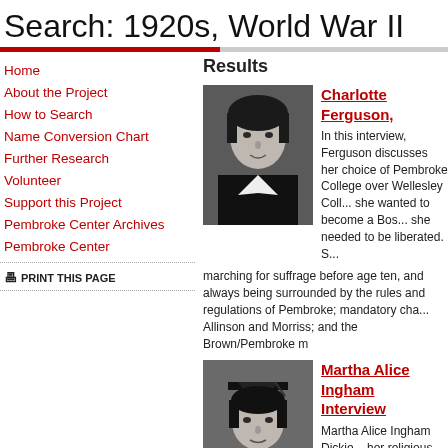Search: 1920s, World War II
Home
About the Project
How to Search
Name Conversion Chart
Further Research
Volunteer
Support this Project
Pembroke Center Archives
Pembroke Center
Results
[Figure (photo): Black and white portrait photo of Charlotte Ferguson, a young woman wearing a dark garment with white collar]
Charlotte Ferguson,
In this interview, Ferguson discusses her choice of Pembroke College over Wellesley College, stating that she wanted to become a Bostonian and she needed to be liberated. She discusses marching for suffrage before age ten, and always being surrounded by the rules and regulations of Pembroke; mandatory chapel under presidents Allinson and Morriss; and the Brown/Pembroke m
[Figure (photo): Black and white portrait photo of Martha Alice Ingham, a young woman in graduation cap]
Martha Alice Ingham Interview
Martha Alice Ingham Dickie discusses her religious and academic background, social work and international values converged in 1939, when Czechoslovakia
PRINT THIS PAGE